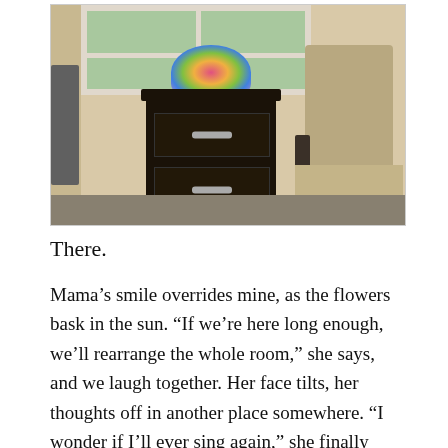[Figure (photo): Hospital or care facility room interior showing a dark wood two-drawer dresser/nightstand with a colorful flower bouquet on top, a high-back upholstered chair with a textured fabric pattern on the right, a window with greenery visible outside at the top center, and partial view of a bed on the left. Warm beige walls and dark floor.]
There.
Mama's smile overrides mine, as the flowers bask in the sun. “If we’re here long enough, we’ll rearrange the whole room,” she says, and we laugh together. Her face tilts, her thoughts off in another place somewhere. “I wonder if I’ll ever sing again,” she finally shares with me.